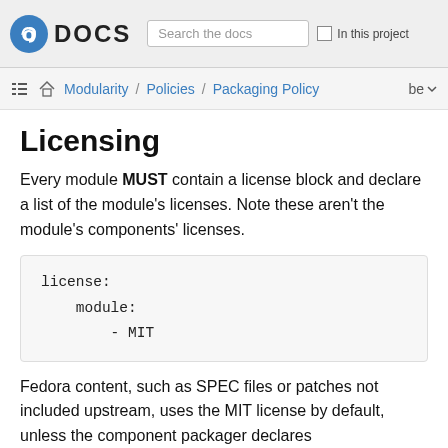Fedora DOCS | Search the docs | In this project
Modularity / Policies / Packaging Policy  be
Licensing
Every module MUST contain a license block and declare a list of the module’s licenses. Note these aren’t the module’s components’ licenses.
Fedora content, such as SPEC files or patches not included upstream, uses the MIT license by default, unless the component packager declares